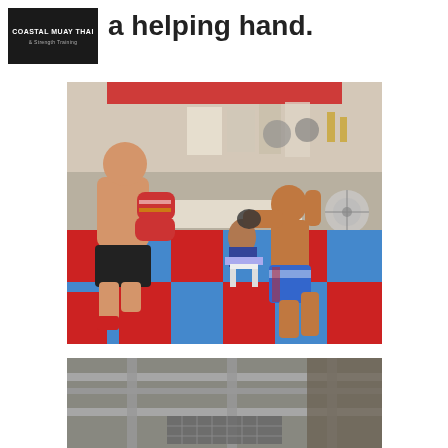Coastal Muay Thai
a helping hand.
[Figure (photo): An adult male sparring with a young Thai boy on a red and blue checkered martial arts mat inside a Muay Thai gym. The adult is shirtless wearing black shorts and red socks, holding Thai pads. The child is wearing colorful Muay Thai shorts and is barefoot, throwing a punch. In the background there is a seated child, gym equipment, posters, trophies, and a fan.]
[Figure (photo): Partial view of what appears to be an industrial or gym interior with metal pipes/equipment visible, partially cut off at the bottom of the page.]